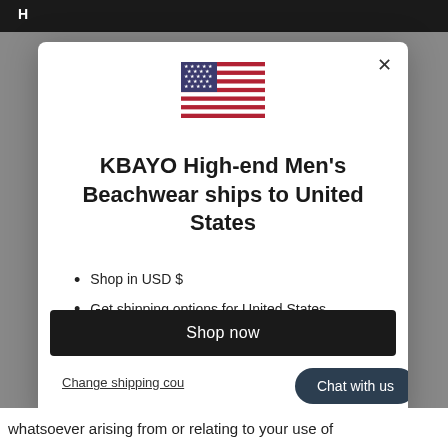H
[Figure (illustration): US flag emoji/icon centered at top of modal dialog]
KBAYO High-end Men's Beachwear ships to United States
Shop in USD $
Get shipping options for United States
Shop now
Change shipping cou
Chat with us
whatsoever arising from or relating to your use of